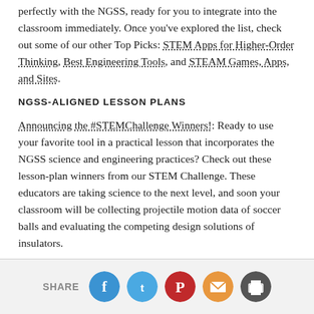perfectly with the NGSS, ready for you to integrate into the classroom immediately. Once you've explored the list, check out some of our other Top Picks: STEM Apps for Higher-Order Thinking, Best Engineering Tools, and STEAM Games, Apps, and Sites.
NGSS-ALIGNED LESSON PLANS
Announcing the #STEMChallenge Winners!: Ready to use your favorite tool in a practical lesson that incorporates the NGSS science and engineering practices? Check out these lesson-plan winners from our STEM Challenge. These educators are taking science to the next level, and soon your classroom will be collecting projectile motion data of soccer balls and evaluating the competing design solutions of insulators.
SHARE [Facebook] [Twitter] [Pinterest] [Email] [Print]